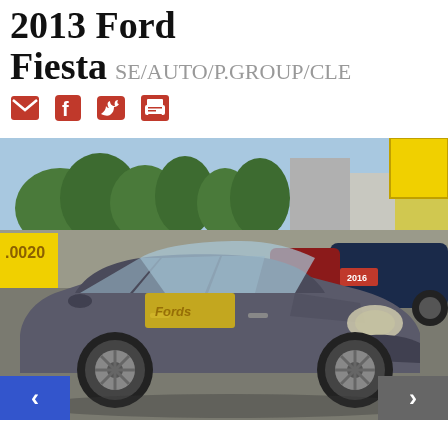2013 Ford Fiesta SE/AUTO/P.GROUP/CLE
[Figure (other): Social share icons: email, Facebook, Twitter, print]
[Figure (photo): 2013 Ford Fiesta SE in grey/charcoal color, parked at a used car dealership lot. Other vehicles visible in background. Dealership signs visible including yellow sign and red sign reading 'CROSSPOINT AUTO'. A red placard reading '2016' visible on a car in background. Navigation arrows at bottom left (blue) and bottom right (grey).]